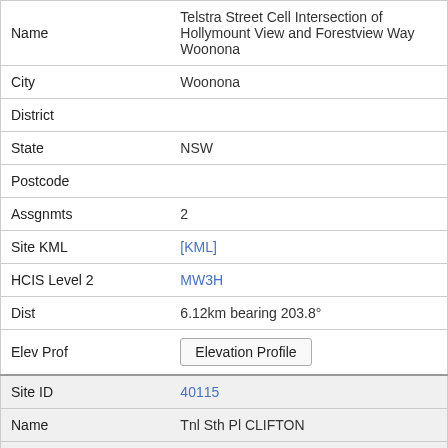| Field | Value |
| --- | --- |
| Name | Telstra Street Cell Intersection of Hollymount View and Forestview Way Woonona |
| City | Woonona |
| District |  |
| State | NSW |
| Postcode |  |
| Assgnmts | 2 |
| Site KML | [KML] |
| HCIS Level 2 | MW3H |
| Dist | 6.12km bearing 203.8° |
| Elev Prof | Elevation Profile |
| Site ID | 40115 |
| Name | Tnl Sth Pl CLIFTON |
| City | CLIFTON |
| District |  |
| State | NSW |
| Postcode | 2515 |